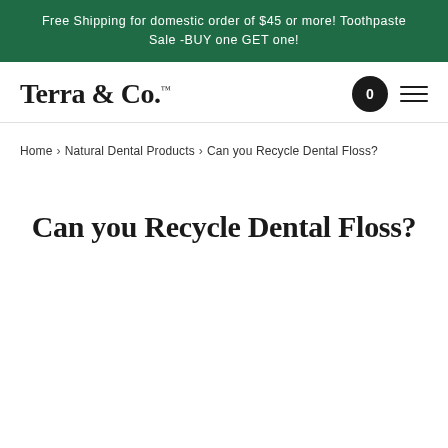Free Shipping for domestic order of $45 or more! Toothpaste Sale -BUY one GET one!
[Figure (logo): Terra & Co. logo with trademark symbol]
Home › Natural Dental Products › Can you Recycle Dental Floss?
Can you Recycle Dental Floss?